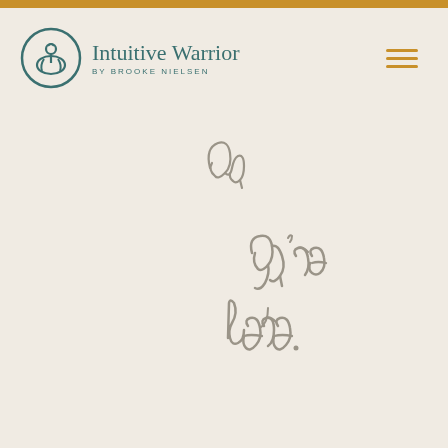Intuitive Warrior BY BROOKE NIELSEN
[Figure (illustration): Handwritten cursive script reading 'glad you're here.' in gray ink on cream background, with decorative flourishes]
[Figure (logo): Intuitive Warrior logo - circular emblem with figure inside and teal color scheme]